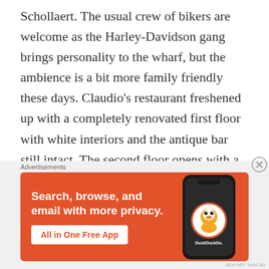Schollaert. The usual crew of bikers are welcome as the Harley-Davidson gang brings personality to the wharf, but the ambience is a bit more family friendly these days. Claudio's restaurant freshened up with a completely renovated first floor with white interiors and the antique bar still intact. The second floor opens with a new bar and lounge, Upstairs at Claudio's, fitting up to 75 guests with a focal point of a hand-carved ship, complemented by the
Advertisements
[Figure (other): DuckDuckGo advertisement banner with orange background. Left side shows text 'Search, browse, and email with more privacy.' with a white 'All in One Free App' button. Right side shows a smartphone with the DuckDuckGo duck logo.]